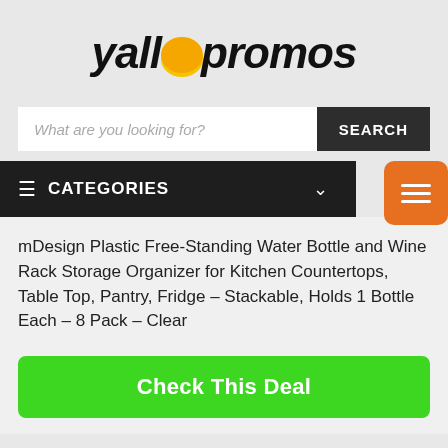[Figure (logo): yallapromos logo in black italic bold text with a yellow/orange circle accent over the letter 'a']
What are you looking for?
CATEGORIES
mDesign Plastic Free-Standing Water Bottle and Wine Rack Storage Organizer for Kitchen Countertops, Table Top, Pantry, Fridge – Stackable, Holds 1 Bottle Each – 8 Pack – Clear
Check This Deal